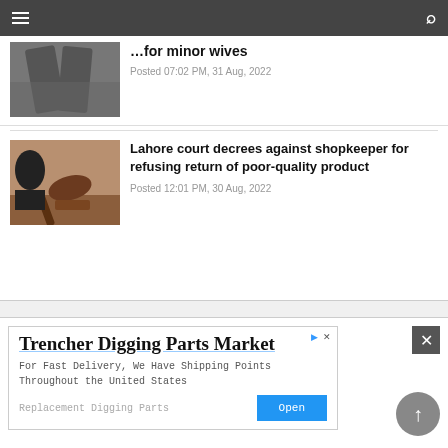Navigation bar with hamburger menu and search icon
[Figure (photo): Partially visible image of a person holding sticks or drumsticks, top portion cut off]
...for minor wives
Posted 07:02 PM, 31 Aug, 2022
[Figure (photo): Photo of a judge's gavel on a wooden surface with a person in background]
Lahore court decrees against shopkeeper for refusing return of poor-quality product
Posted 12:01 PM, 30 Aug, 2022
[Figure (other): Advertisement banner for Trencher Digging Parts Market with Open button]
Trencher Digging Parts Market
For Fast Delivery, We Have Shipping Points Throughout the United States
Replacement Digging Parts